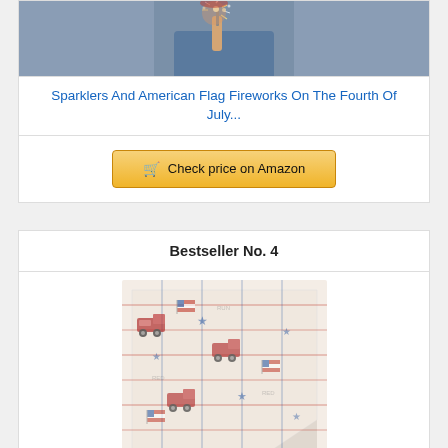[Figure (photo): Child holding a sparkler with sparks flying, wearing a blue shirt]
Sparklers And American Flag Fireworks On The Fourth Of July...
Check price on Amazon
Bestseller No. 4
[Figure (photo): Patriotic tablecloth with red white and blue pattern featuring American flags, red trucks, and stars]